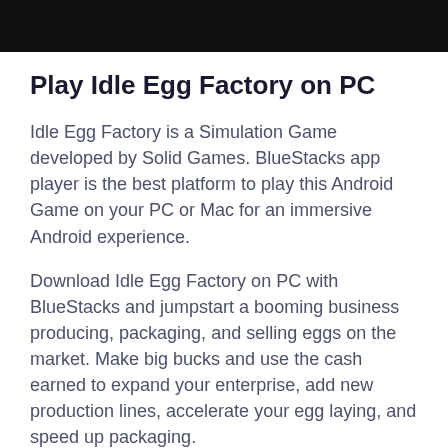Play Idle Egg Factory on PC
Idle Egg Factory is a Simulation Game developed by Solid Games. BlueStacks app player is the best platform to play this Android Game on your PC or Mac for an immersive Android experience.
Download Idle Egg Factory on PC with BlueStacks and jumpstart a booming business producing, packaging, and selling eggs on the market. Make big bucks and use the cash earned to expand your enterprise, add new production lines, accelerate your egg laying, and speed up packaging.